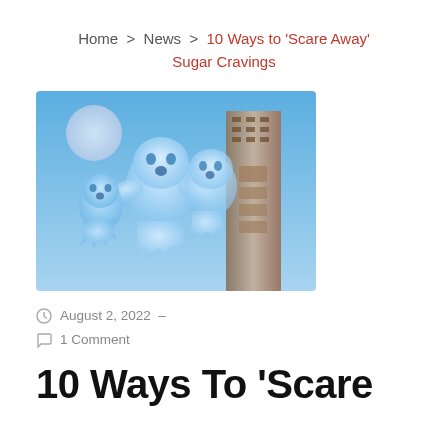Home > News > 10 Ways to 'Scare Away' Sugar Cravings
[Figure (illustration): Cartoon ghosts floating in a blue sky with a moon and a tall building in the background]
August 2, 2022 –
1 Comment
10 Ways To 'Scare